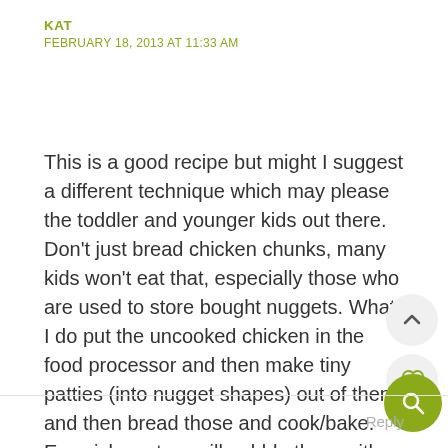KAT
FEBRUARY 18, 2013 AT 11:33 AM
This is a good recipe but might I suggest a different technique which may please the toddler and younger kids out there. Don't just bread chicken chunks, many kids won't eat that, especially those who are used to store bought nuggets. What I do put the uncooked chicken in the food processor and then make tiny patties (into nugget shapes) out of them and then bread those and cook/bake. Even picky eaters will gobble them with the texture they know and love.
Reply